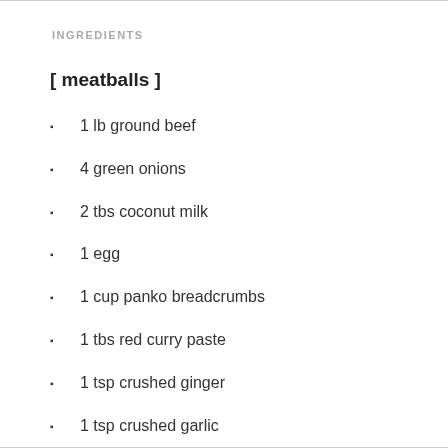INGREDIENTS
[ meatballs ]
1 lb ground beef
4 green onions
2 tbs coconut milk
1 egg
1 cup panko breadcrumbs
1 tbs red curry paste
1 tsp crushed ginger
1 tsp crushed garlic
1 tbs fish sauce
1/4 cup cilantro